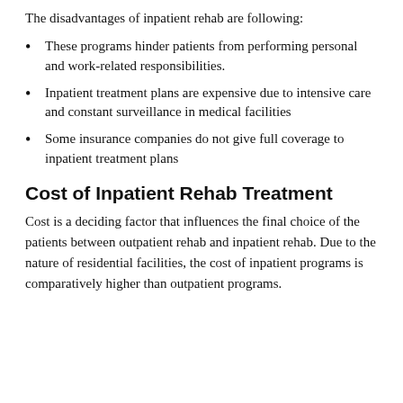The disadvantages of inpatient rehab are following:
These programs hinder patients from performing personal and work-related responsibilities.
Inpatient treatment plans are expensive due to intensive care and constant surveillance in medical facilities
Some insurance companies do not give full coverage to inpatient treatment plans
Cost of Inpatient Rehab Treatment
Cost is a deciding factor that influences the final choice of the patients between outpatient rehab and inpatient rehab. Due to the nature of residential facilities, the cost of inpatient programs is comparatively higher than outpatient programs.